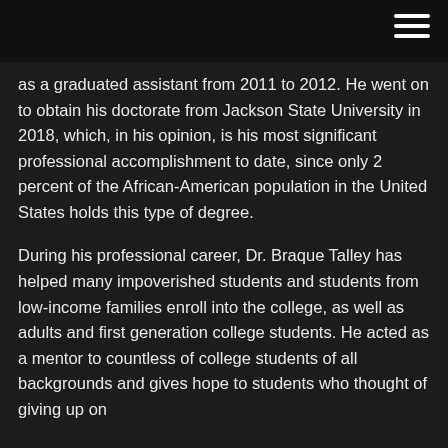as a graduated assistant from 2011 to 2012. He went on to obtain his doctorate from Jackson State University in 2018, which, in his opinion, is his most significant professional accomplishment to date, since only 2 percent of the African-American population in the United States holds this type of degree.
During his professional career, Dr. Braque Talley has helped many impoverished students and students from low-income families enroll into the college, as well as adults and first generation college students. He acted as a mentor to countless of college students of all backgrounds and gives hope to students who thought of giving up on